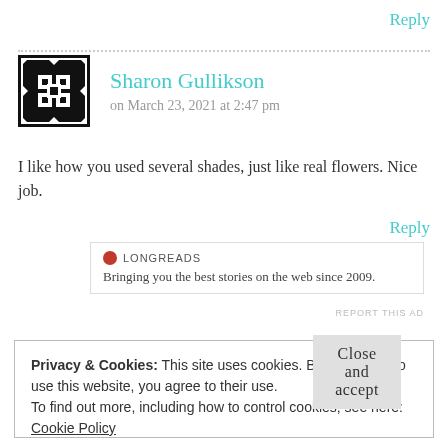Reply
[Figure (illustration): Black and white geometric quilt-pattern avatar icon for Sharon Gullikson]
Sharon Gullikson
on March 23, 2021 at 2:47 pm
I like how you used several shades, just like real flowers. Nice job.
Reply
[Figure (screenshot): Longreads ad: logo circle with LONGREADS text, tagline: Bringing you the best stories on the web since 2009.]
REPORT THIS AD
Privacy & Cookies: This site uses cookies. By continuing to use this website, you agree to their use.
To find out more, including how to control cookies, see here: Cookie Policy
Close and accept